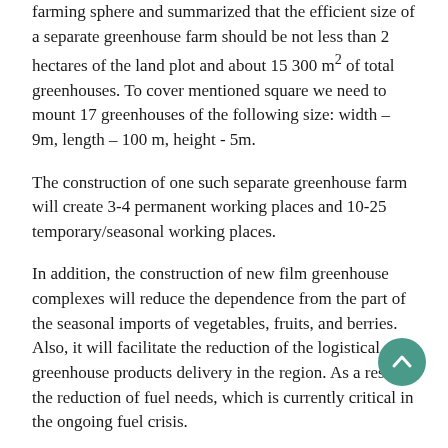farming sphere and summarized that the efficient size of a separate greenhouse farm should be not less than 2 hectares of the land plot and about 15 300 m² of total greenhouses. To cover mentioned square we need to mount 17 greenhouses of the following size: width – 9m, length – 100 m, height - 5m.
The construction of one such separate greenhouse farm will create 3-4 permanent working places and 10-25 temporary/seasonal working places.
In addition, the construction of new film greenhouse complexes will reduce the dependence from the part of the seasonal imports of vegetables, fruits, and berries. Also, it will facilitate the reduction of the logistical greenhouse products delivery in the region. As a result, the reduction of fuel needs, which is currently critical in the ongoing fuel crisis.